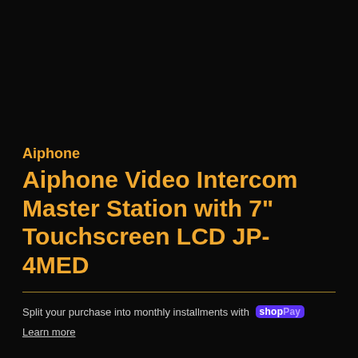[Figure (photo): Dark black background occupying the upper portion of the page, product image area]
Aiphone
Aiphone Video Intercom Master Station with 7" Touchscreen LCD JP-4MED
Split your purchase into monthly installments with Shop Pay
Learn more